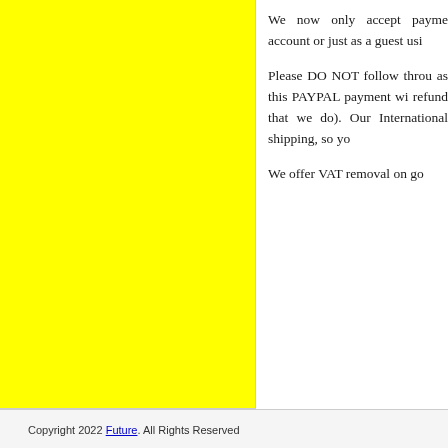We now only accept payments through PayPal. You can do this with a PayPal account or just as a guest using your credit/debit card.
Please DO NOT follow through with an eCheque payment through your PayPal account as this PAYPAL payment will be cancelled (please note this is not something we refund that we do). Our T&C's state that we only accept Credit Cards for International shipping, so you will not be able to pay for international orders.
We offer VAT removal on goods shipped outside the EU.
Copyright 2022 Future. All Rights Reserved